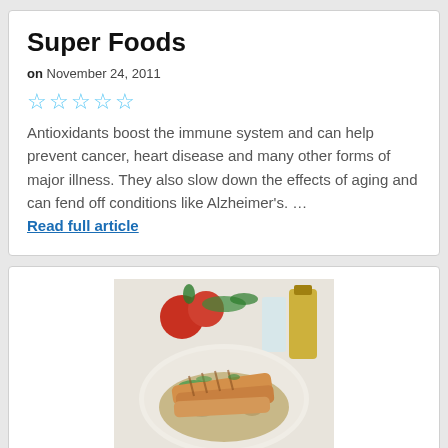Super Foods
on November 24, 2011
[Figure (other): Five empty star rating icons in light blue]
Antioxidants boost the immune system and can help prevent cancer, heart disease and many other forms of major illness. They also slow down the effects of aging and can fend off conditions like Alzheimer's. … Read full article
[Figure (photo): Photo of a plate of grilled chicken sliced and served over a grain salad with greens, with tomatoes, a glass, and a bottle of olive oil in the background]
Grilled Chicken Sa…